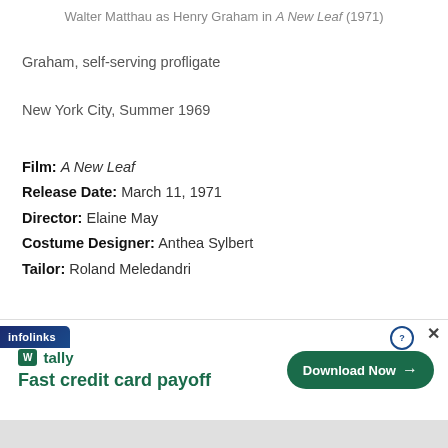Walter Matthau as Henry Graham in A New Leaf (1971)
Graham, self-serving profligate
New York City, Summer 1969
Film: A New Leaf
Release Date: March 11, 1971
Director: Elaine May
Costume Designer: Anthea Sylbert
Tailor: Roland Meledandri
Background
I'd long been intrigued by Elaine May's directorial debut A New Leaf,
[Figure (other): Advertisement banner for Tally app - Fast credit card payoff with Download Now button, overlaid with infolinks badge and close/X buttons]